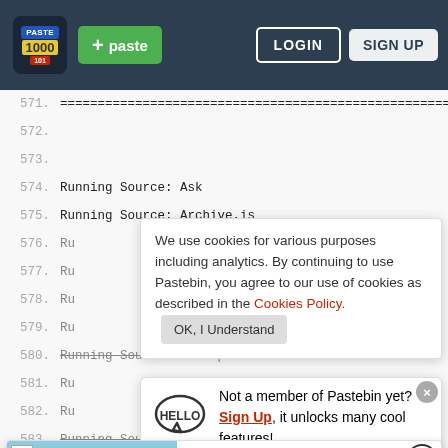Pastebin header with logo, + paste button, LOGIN, SIGN UP
571.	====================================================
572.	(blank)
573.	(blank)
574.	Running Source: Ask
575.	Running Source: Archive.is
576.	Ru
577.	Ru
578.	Ru
579.	Ru
580.	Running Source: Cortspotter
581.	Ru
582.	Ru
583.	Running Source: oison
We use cookies for various purposes including analytics. By continuing to use Pastebin, you agree to our use of cookies as described in the Cookies Policy.   OK, I Understand
Not a member of Pastebin yet? Sign Up, it unlocks many cool features!
Ad  They Are Coming!  Download